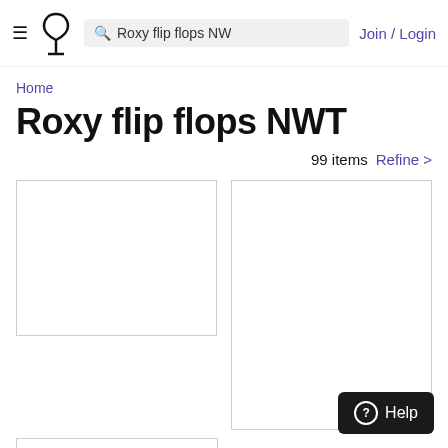≡ [logo] Roxy flip flops NW [search] Join / Login
Home
Roxy flip flops NWT
99 items  Refine >
[Figure (other): Empty product image card placeholder left]
[Figure (other): Empty product image card placeholder right]
[Figure (other): Empty product image card placeholder bottom left (partial)]
Help